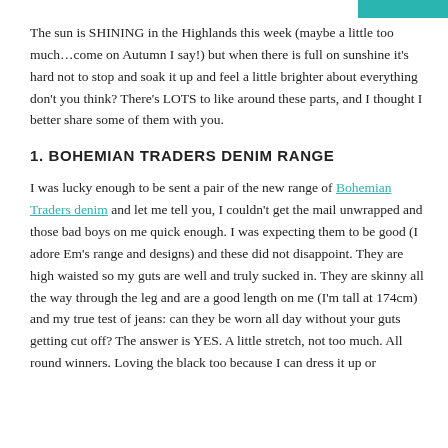The sun is SHINING in the Highlands this week (maybe a little too much…come on Autumn I say!) but when there is full on sunshine it's hard not to stop and soak it up and feel a little brighter about everything don't you think? There's LOTS to like around these parts, and I thought I better share some of them with you.
1. BOHEMIAN TRADERS DENIM RANGE
I was lucky enough to be sent a pair of the new range of Bohemian Traders denim and let me tell you, I couldn't get the mail unwrapped and those bad boys on me quick enough. I was expecting them to be good (I adore Em's range and designs) and these did not disappoint. They are high waisted so my guts are well and truly sucked in. They are skinny all the way through the leg and are a good length on me (I'm tall at 174cm) and my true test of jeans: can they be worn all day without your guts getting cut off? The answer is YES. A little stretch, not too much. All round winners. Loving the black too because I can dress it up or